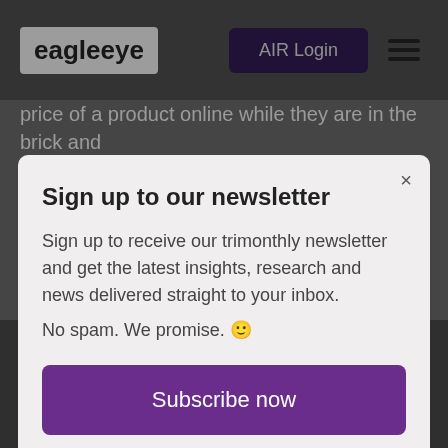eagleeye | AIR Login
price of a product online while they are in the brick and
Sign up to our newsletter
Sign up to receive our trimonthly newsletter and get the latest insights, research and news delivered straight to your inbox.
No spam. We promise. 🙂
Subscribe now
banner or clicking Accept all Cookies indicates you agree to the use of cookies on your device. Cookies & Privacy Notice
Accept cookies